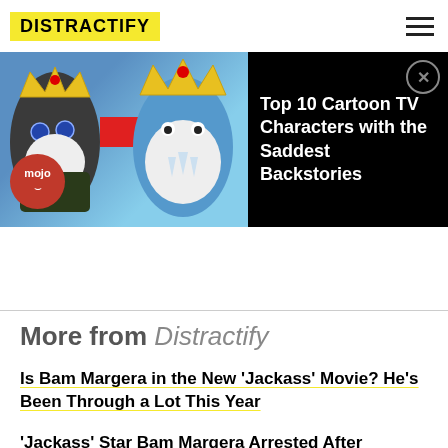DISTRACTIFY
[Figure (screenshot): Video thumbnail ad showing cartoon characters from Adventure Time with text 'Top 10 Cartoon TV Characters with the Saddest Backstories' and WatchMojo branding]
More from Distractify
Is Bam Margera in the New 'Jackass' Movie? He's Been Through a Lot This Year
'Jackass' Star Bam Margera Arrested After Reportedly